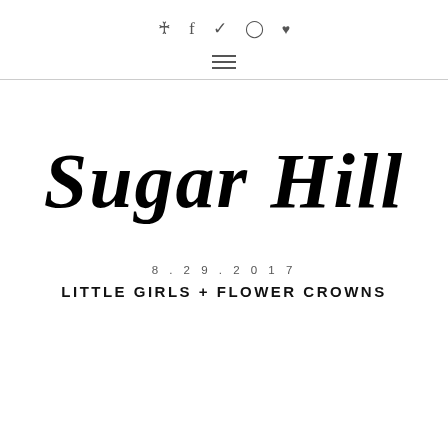⊕ f ✦ ⊙ ♥
[Figure (logo): Sugar Hill script/calligraphy logo in black cursive text]
8.29.2017
LITTLE GIRLS + FLOWER CROWNS